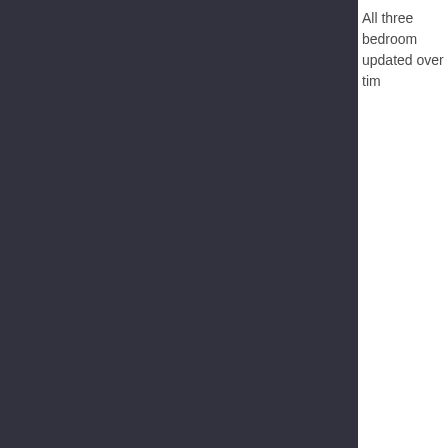[Figure (photo): Dark-colored panel occupying the left ~80% of the page, with a dark charcoal/navy background color.]
All three bedrooms updated over tim